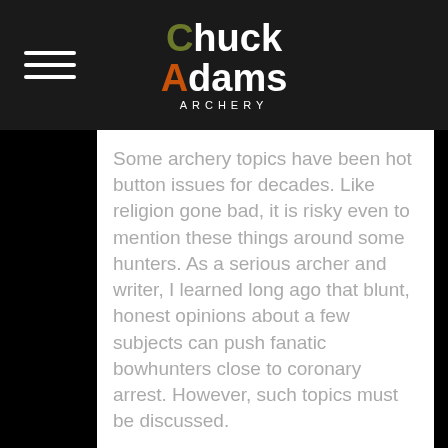Chuck Adams Archery
Some archery topics have been hot button issues for decades. Like religion gone bad, it is risky even to mention these things around some hunters. As a serious archer and writer, I learned long ago that blunt, honest opinions about a few subjects can push fanatic bowhunters close to coronary arrest. However, such topics must be discussed.
Bow Bitching
One touchy subject can be what type of bow you shoot. Even today, a small but militant and noisy clique of non-compound shooters continues to sneer at anyone using a bow with “training wheels.” If you respond, these